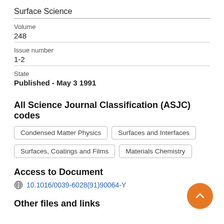Surface Science
Volume
248
Issue number
1-2
State
Published - May 3 1991
All Science Journal Classification (ASJC) codes
Condensed Matter Physics
Surfaces and Interfaces
Surfaces, Coatings and Films
Materials Chemistry
Access to Document
10.1016/0039-6028(91)90064-Y
Other files and links